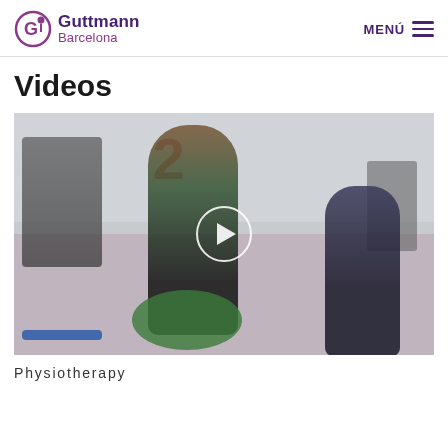Guttmann Barcelona | MENÚ
Videos
[Figure (photo): A physiotherapy session showing a patient sitting on a gym ball while a therapist assists them in a rehabilitation gym. A play button overlay is visible in the center of the image.]
Physiotherapy